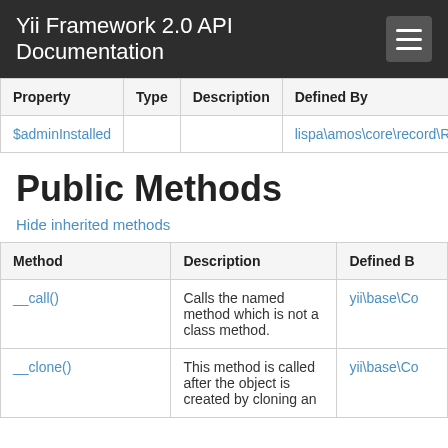Yii Framework 2.0 API Documentation
| Property | Type | Description | Defined By |
| --- | --- | --- | --- |
| $adminInstalled |  |  | lispa\amos\core\record\R |
Public Methods
Hide inherited methods
| Method | Description | Defined B |
| --- | --- | --- |
| __call() | Calls the named method which is not a class method. | yii\base\Co |
| __clone() | This method is called after the object is created by cloning an | yii\base\Co |